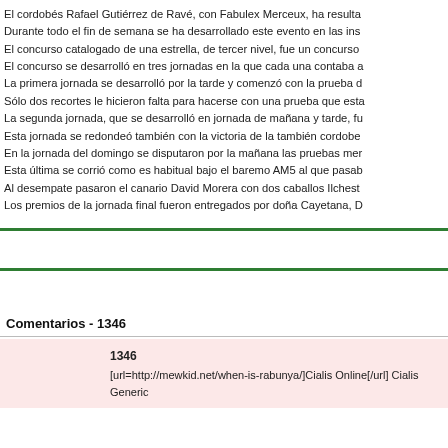El cordobés Rafael Gutiérrez de Ravé, con Fabulex Merceux, ha resulta
Durante todo el fin de semana se ha desarrollado este evento en las ins
El concurso catalogado de una estrella, de tercer nivel, fue un concurso
El concurso se desarrolló en tres jornadas en la que cada una contaba a
La primera jornada se desarrolló por la tarde y comenzó con la prueba d
Sólo dos recortes le hicieron falta para hacerse con una prueba que esta
La segunda jornada, que se desarrolló en jornada de mañana y tarde, fu
Esta jornada se redondeó también con la victoria de la también cordobe
En la jornada del domingo se disputaron por la mañana las pruebas mer
Esta última se corrió como es habitual bajo el baremo AM5 al que pasab
Al desempate pasaron el canario David Morera con dos caballos Ilchest
Los premios de la jornada final fueron entregados por doña Cayetana, D
Comentarios - 1346
1346
[url=http://mewkid.net/when-is-rabunya/]Cialis Online[/url] Cialis Generic